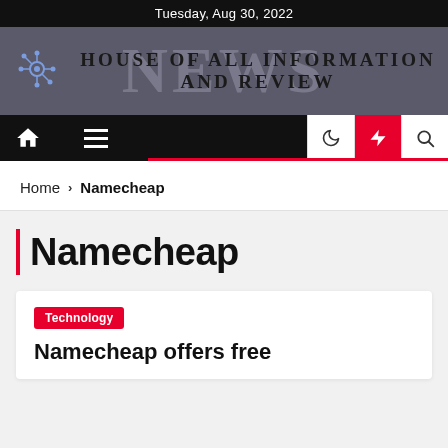Tuesday, Aug 30, 2022
[Figure (logo): News website banner with newspaper background image, network/hub logo icon on the left, and text 'HOUSE OF ALL INFORMATION AND REVIEW']
[Figure (screenshot): Navigation bar with home icon, hamburger menu, moon icon, lightning bolt icon (red background), and search icon]
Home > Namecheap
Namecheap
Technology
Namecheap offers free